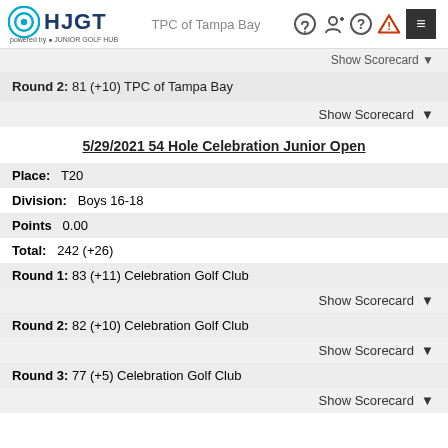HJGT powered by Junior Golf Hub — TPC of Tampa Bay
Round 2: 81 (+10) TPC of Tampa Bay
Show Scorecard ▼
5/29/2021 54 Hole Celebration Junior Open
Place:  T20
Division:  Boys 16-18
Points  0.00
Total:  242 (+26)
Round 1: 83 (+11) Celebration Golf Club
Show Scorecard ▼
Round 2: 82 (+10) Celebration Golf Club
Show Scorecard ▼
Round 3: 77 (+5) Celebration Golf Club
Show Scorecard ▼